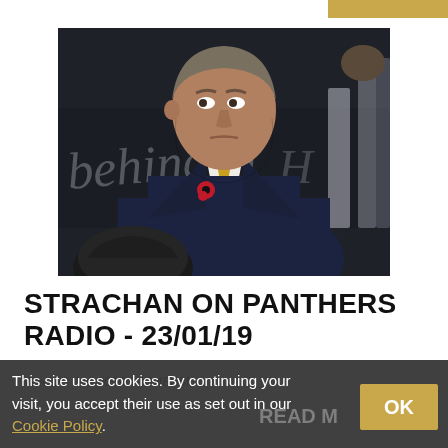[Figure (photo): A man in a dark suit with a gold tie and red poppy lapel pin, looking to the side with a serious expression, standing near an ice rink boards with text/logos in the background.]
STRACHAN ON PANTHERS RADIO - 23/01/19
Wed 23 Jan 2019 - 10:48PM
This site uses cookies. By continuing your visit, you accept their use as set out in our Cookie Policy.